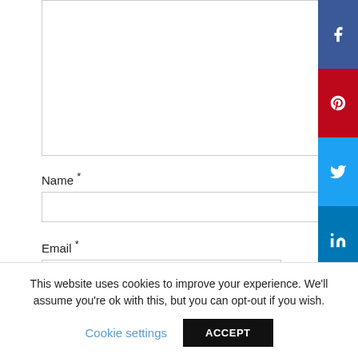[Figure (screenshot): Comment textarea input box (empty, white background with border)]
Name *
[Figure (screenshot): Name text input field (empty, white background with border)]
Email *
[Figure (screenshot): Email text input field (empty, white background with border)]
[Figure (screenshot): Social share buttons: Facebook (blue), Pinterest (red), Twitter (light blue), LinkedIn (dark blue), WhatsApp (green)]
This website uses cookies to improve your experience. We'll assume you're ok with this, but you can opt-out if you wish.
Cookie settings
ACCEPT